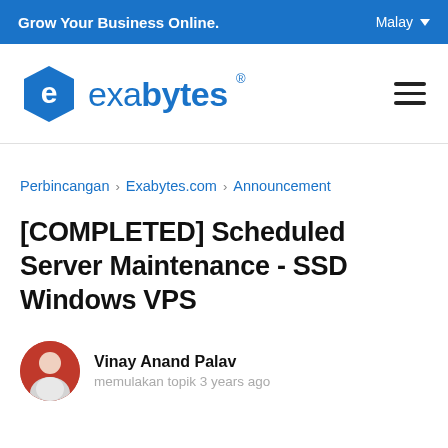Grow Your Business Online.   Malay
[Figure (logo): Exabytes logo — blue hexagon with letter e and 'exabytes' wordmark]
Perbincangan › Exabytes.com › Announcement
[COMPLETED] Scheduled Server Maintenance - SSD Windows VPS
Vinay Anand Palav
memulakan topik 3 years ago